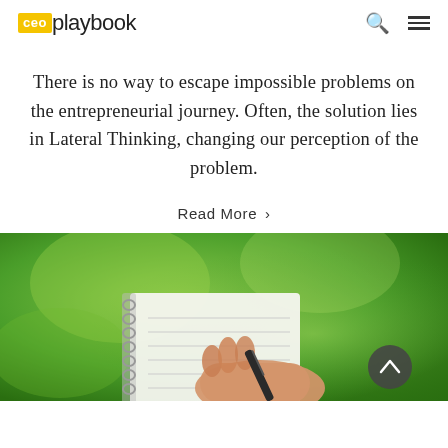ceoplaybook
There is no way to escape impossible problems on the entrepreneurial journey. Often, the solution lies in Lateral Thinking, changing our perception of the problem.
Read More >
[Figure (photo): A hand holding a pen writing in a spiral-bound notebook against a blurred green outdoor background, with a circular scroll-up button overlay in the bottom right.]